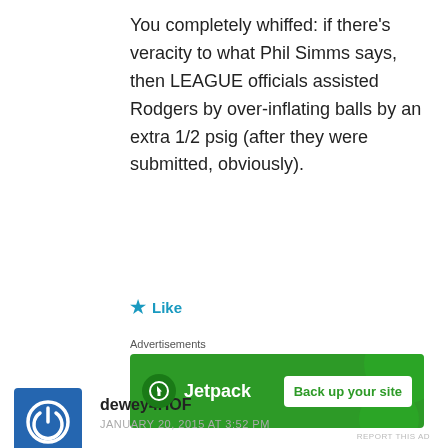You completely whiffed: if there's veracity to what Phil Simms says, then LEAGUE officials assisted Rodgers by over-inflating balls by an extra 1/2 psig (after they were submitted, obviously).
★ Like
Advertisements
[Figure (other): Jetpack advertisement banner with green background, Jetpack logo on left and 'Back up your site' button on right]
REPORT THIS AD
[Figure (other): User avatar icon - blue square with white power button symbol]
dewey4HOF
JANUARY 20, 2015 AT 3:52 PM